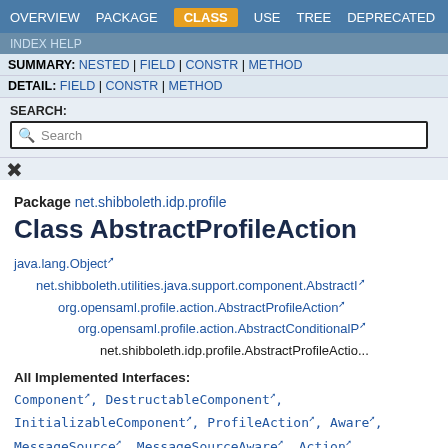OVERVIEW  PACKAGE  CLASS  USE  TREE  DEPRECATED
INDEX  HELP
SUMMARY: NESTED | FIELD | CONSTR | METHOD
DETAIL: FIELD | CONSTR | METHOD
SEARCH: [Search box]
Package net.shibboleth.idp.profile
Class AbstractProfileAction
java.lang.Object
  net.shibboleth.utilities.java.support.component.AbstractI...
    org.opensaml.profile.action.AbstractProfileAction
      org.opensaml.profile.action.AbstractConditionalP...
        net.shibboleth.idp.profile.AbstractProfileActio...
All Implemented Interfaces: Component, DestructableComponent, InitializableComponent, ProfileAction, Aware, MessageSource, MessageSourceAware, Action